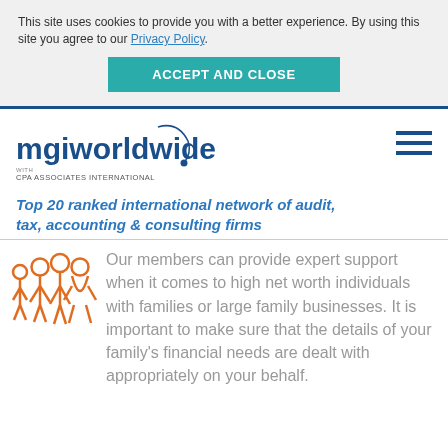This site uses cookies to provide you with a better experience. By using this site you agree to our Privacy Policy.
ACCEPT AND CLOSE
[Figure (logo): MGI Worldwide with CPA Associates International logo]
[Figure (infographic): Hamburger menu icon (three horizontal lines)]
Top 20 ranked international network of audit, tax, accounting & consulting firms
[Figure (illustration): Orange illustrated icon of a group of people/family figures]
Our members can provide expert support when it comes to high net worth individuals with families or large family businesses. It is important to make sure that the details of your family's financial needs are dealt with appropriately on your behalf.